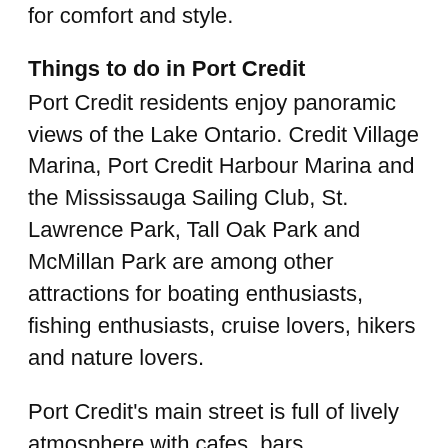for comfort and style.
Things to do in Port Credit
Port Credit residents enjoy panoramic views of the Lake Ontario. Credit Village Marina, Port Credit Harbour Marina and the Mississauga Sailing Club, St. Lawrence Park, Tall Oak Park and McMillan Park are among other attractions for boating enthusiasts, fishing enthusiasts, cruise lovers, hikers and nature lovers.
Port Credit’s main street is full of lively atmosphere with cafes, bars, restaurants, boutiques, music, spas and so much more. The iconic Port Credit lighthouse and Memorial Park host festivals and events all around the year. Known as Mississauga's Village on the Lake, it is one of Mississauga's most popular entertainment, cultural and dining centres.